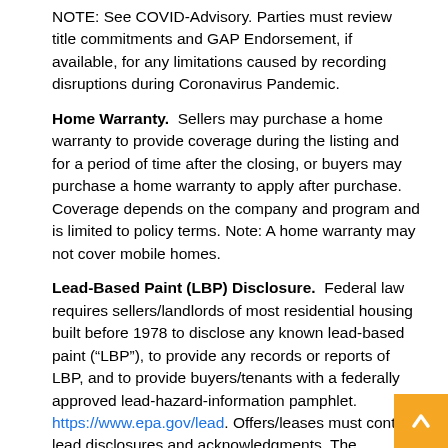NOTE: See COVID-Advisory. Parties must review title commitments and GAP Endorsement, if available, for any limitations caused by recording disruptions during Coronavirus Pandemic.
Home Warranty. Sellers may purchase a home warranty to provide coverage during the listing and for a period of time after the closing, or buyers may purchase a home warranty to apply after purchase. Coverage depends on the company and program and is limited to policy terms. Note: A home warranty may not cover mobile homes.
Lead-Based Paint (LBP) Disclosure. Federal law requires sellers/landlords of most residential housing built before 1978 to disclose any known lead-based paint (“LBP”), to provide any records or reports of LBP, and to provide buyers/tenants with a federally approved lead-hazard-information pamphlet. https://www.epa.gov/lead. Offers/leases must contain lead disclosures and acknowledgments. The regulations do not require removal of LBP hazards, but buyers have the right to include a contingency to inspect for LBP.